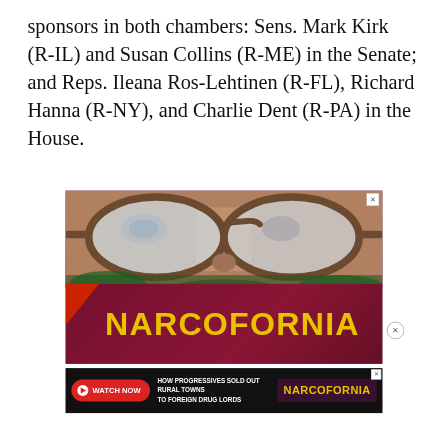sponsors in both chambers: Sens. Mark Kirk (R-IL) and Susan Collins (R-ME) in the Senate; and Reps. Ileana Ros-Lehtinen (R-FL), Richard Hanna (R-NY), and Charlie Dent (R-PA) in the House.
[Figure (other): Advertisement for 'Narcofornia' book/documentary. Shows close-up of a person wearing large sunglasses with the word NARCOFORNIA in large yellow letters on a dark red card/book cover. Green marijuana leaves visible in background.]
[Figure (other): Second advertisement banner for 'Narcofornia' with text 'HOW PROGRESSIVES SOLD OUT RURAL TOWNS TO FOREIGN DRUG LORDS' and a red 'WATCH NOW' button on dark background.]